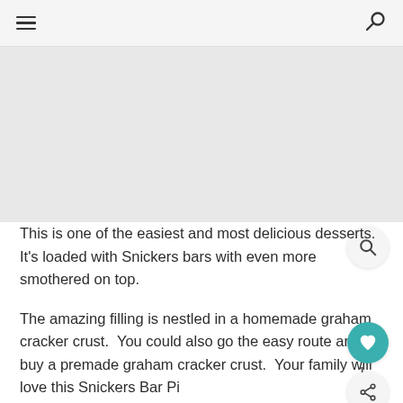≡  🔍
[Figure (photo): Gray placeholder image area for a food/recipe photo]
This is one of the easiest and most delicious desserts. It's loaded with Snickers bars with even more smothered on top.
The amazing filling is nestled in a homemade graham cracker crust.  You could also go the easy route and buy a premade graham cracker crust.  Your family will love this Snickers Bar Pi